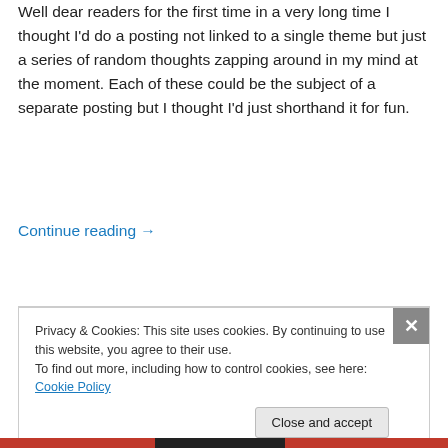Well dear readers for the first time in a very long time I thought I'd do a posting not linked to a single theme but just a series of random thoughts zapping around in my mind at the moment. Each of these could be the subject of a separate posting but I thought I'd just shorthand it for fun.
Continue reading →
Privacy & Cookies: This site uses cookies. By continuing to use this website, you agree to their use.
To find out more, including how to control cookies, see here: Cookie Policy
Close and accept